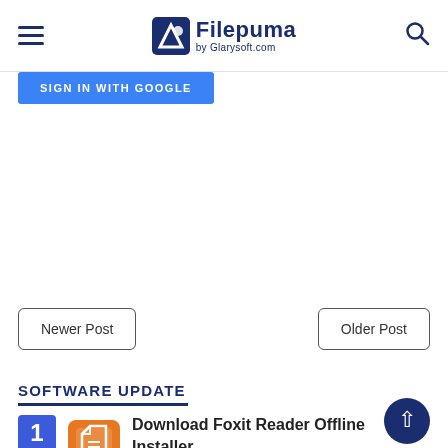Filepuma by Glarysoft.com
SIGN IN WITH GOOGLE
Newer Post
Older Post
SOFTWARE UPDATE
Download Foxit Reader Offline Installer Full Version Free